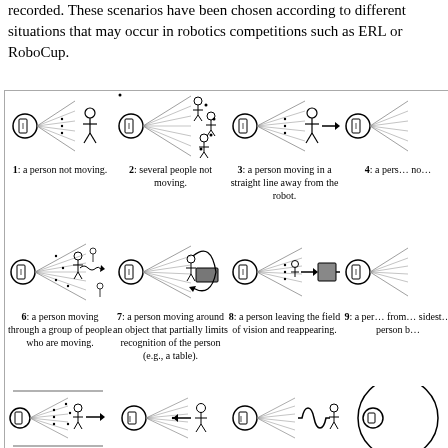recorded. These scenarios have been chosen according to different situations that may occur in robotics competitions such as ERL or RoboCup.
[Figure (illustration): Grid of robot vision scenarios showing a robot (camera icon) observing people/objects in various situations: 1) person not moving, 2) several people not moving, 3) person moving in straight line away from robot, 4) person (partially visible), 6) person moving through group of people who are moving, 7) person moving around object partially limiting recognition (e.g. table), 8) person leaving field of vision and reappearing, 9) person (partially visible), plus row 3 showing additional scenarios including person moving left/right and waveform scenarios.]